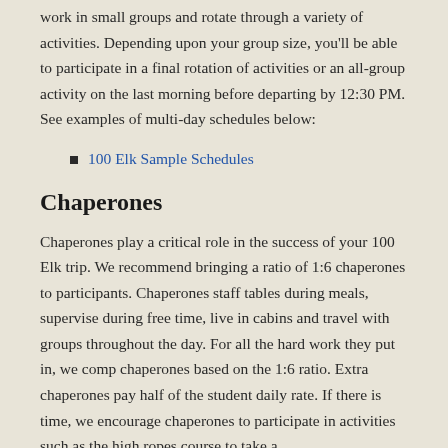work in small groups and rotate through a variety of activities. Depending upon your group size, you'll be able to participate in a final rotation of activities or an all-group activity on the last morning before departing by 12:30 PM. See examples of multi-day schedules below:
100 Elk Sample Schedules
Chaperones
Chaperones play a critical role in the success of your 100 Elk trip. We recommend bringing a ratio of 1:6 chaperones to participants. Chaperones staff tables during meals, supervise during free time, live in cabins and travel with groups throughout the day. For all the hard work they put in, we comp chaperones based on the 1:6 ratio. Extra chaperones pay half of the student daily rate. If there is time, we encourage chaperones to participate in activities such as the high ropes course to take a